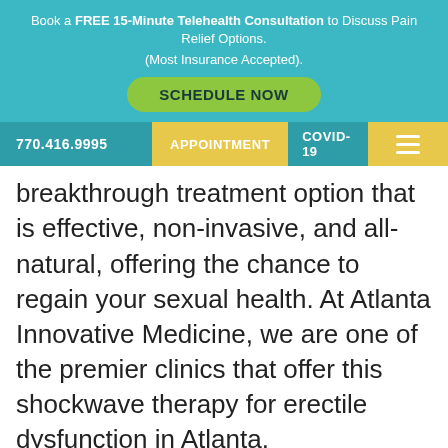Book a FREE 15-Minute Telehealth Consultation to Discuss Pain Relief Options.
(Most Insurance Accepted).
SCHEDULE NOW
770.416.9995 | APPOINTMENT | COVID-19
breakthrough treatment option that is effective, non-invasive, and all-natural, offering the chance to regain your sexual health. At Atlanta Innovative Medicine, we are one of the premier clinics that offer this shockwave therapy for erectile dysfunction in Atlanta.
To schedule your appointment or learn more, call us now at